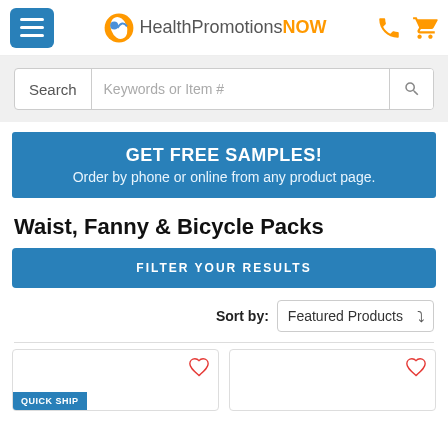[Figure (screenshot): HealthPromotionsNOW website header with hamburger menu button, logo, phone icon, and cart icon]
[Figure (screenshot): Search bar with Search label and Keywords or Item # placeholder and search icon]
GET FREE SAMPLES! Order by phone or online from any product page.
Waist, Fanny & Bicycle Packs
FILTER YOUR RESULTS
Sort by: Featured Products
[Figure (screenshot): Two product card placeholders with heart/wishlist icons and a QUICK SHIP badge on the left card]